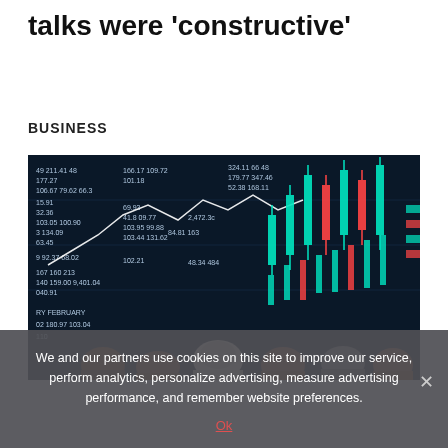talks were 'constructive'
BUSINESS
[Figure (photo): Illustration of people watching a stock market trading screen showing candlestick charts with rising green candles and a line chart, overlaid with financial numbers and data.]
We and our partners use cookies on this site to improve our service, perform analytics, personalize advertising, measure advertising performance, and remember website preferences.
Ok